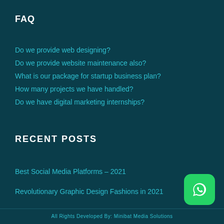FAQ
Do we provide web designing?
Do we provide website maintenance also?
What is our package for startup business plan?
How many projects we have handled?
Do we have digital marketing internships?
RECENT POSTS
Best Social Media Platforms – 2021
Revolutionary Graphic Design Fashions in 2021
All Rights Developed By: Minibat Media Solutions